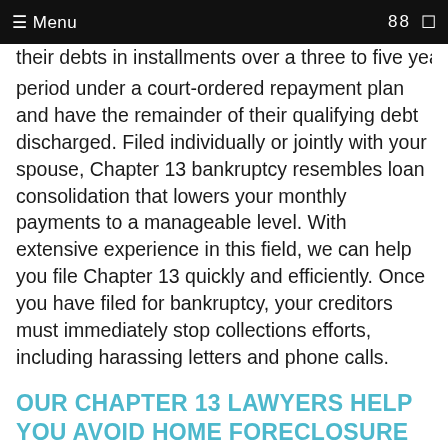☰ Menu  88  ☐
their debts in installments over a three to five year period under a court-ordered repayment plan and have the remainder of their qualifying debt discharged. Filed individually or jointly with your spouse, Chapter 13 bankruptcy resembles loan consolidation that lowers your monthly payments to a manageable level. With extensive experience in this field, we can help you file Chapter 13 quickly and efficiently. Once you have filed for bankruptcy, your creditors must immediately stop collections efforts, including harassing letters and phone calls.
OUR CHAPTER 13 LAWYERS HELP YOU AVOID HOME FORECLOSURE
One of the many advantages of a Chapter 13 filing is that you can save your home from foreclosure. A court-issued automatic stay stops foreclosure as